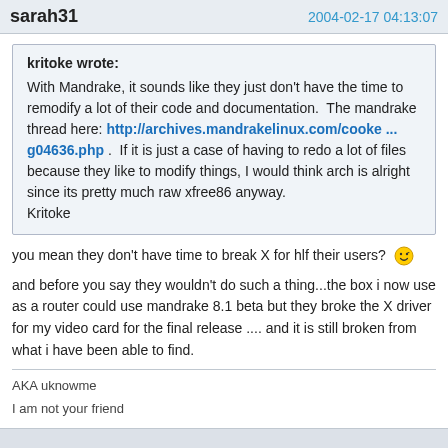sarah31   2004-02-17 04:13:07
kritoke wrote:
With Mandrake, it sounds like they just don't have the time to remodify a lot of their code and documentation.  The mandrake thread here: http://archives.mandrakelinux.com/cooke ... g04636.php .  If it is just a case of having to redo a lot of files because they like to modify things, I would think arch is alright since its pretty much raw xfree86 anyway.
Kritoke
you mean they don't have time to break X for hlf their users? 😉
and before you say they wouldn't do such a thing...the box i now use as a router could use mandrake 8.1 beta but they broke the X driver for my video card for the final release .... and it is still broken from what i have been able to find.
AKA uknowme
I am not your friend